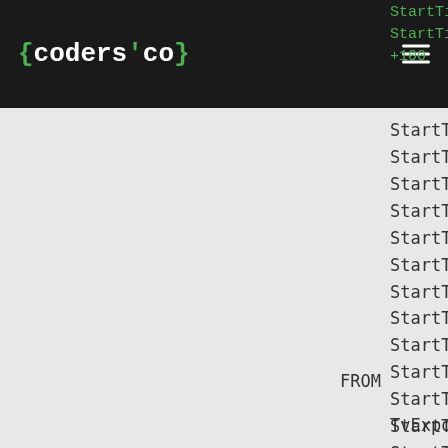[Figure (logo): coders'co logo in white monospace font with green curly braces on dark background]
StartTimeslot)))/12))-3
StartTimeslot))+4800-FL
StartTimeslot)))/12)))+
StartTimeslot))+4800-FL
StartTimeslot)))/12)))/
StartTimeslot))+4800-FL
StartTimeslot)))/12)))/
StartTimeslot))+4800-FL
StartTimeslot)))/12)))/
StartTimeslot))-12)*CAS
StartTimeslot))*CAST(86
StartTimeslot))*CAST(86
StartTimeslot))/100)/10
TvChannelId AS C27
FROM
    TvExposures) AS A